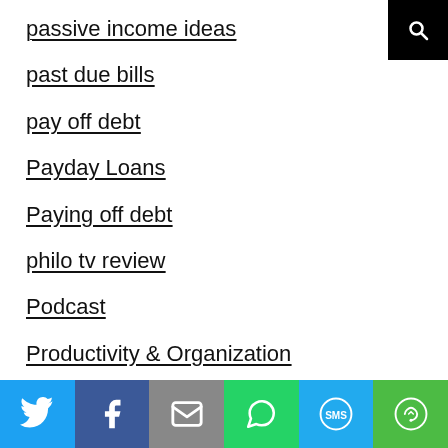passive income ideas
past due bills
pay off debt
Payday Loans
Paying off debt
philo tv review
Podcast
Productivity & Organization
Purpose-Filled Work & Life
reading
Real Estate